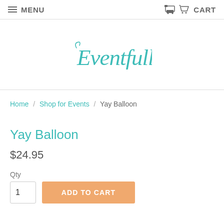MENU  CART
[Figure (logo): Eventfull logo in teal cursive script]
Home / Shop for Events / Yay Balloon
Yay Balloon
$24.95
Qty
1  ADD TO CART